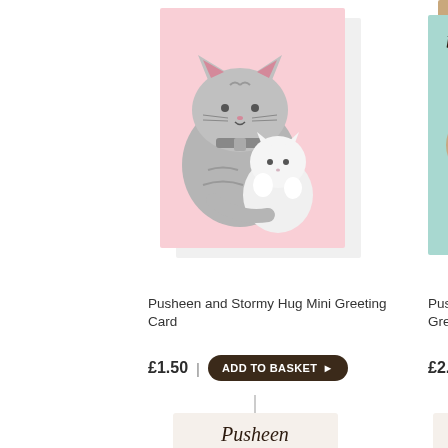[Figure (photo): Pusheen and Stormy Hug Mini Greeting Card product image - pink greeting card with Pusheen cat hugging Stormy]
Pusheen and Stormy Hug Mini Greeting Card
£1.50 | ADD TO BASKET ▶
[Figure (photo): Pusheen the Cat Best Dad Greeting Card - teal card with Pusheen cat characters]
Pusheen the Ca... Greeting Card
£2.80 | ADD TO...
[Figure (photo): Pusheen the Cat branded gift card or notepad with green striped design and mermaid Pusheen]
[Figure (photo): Pusheen branded product - partially visible on right side]